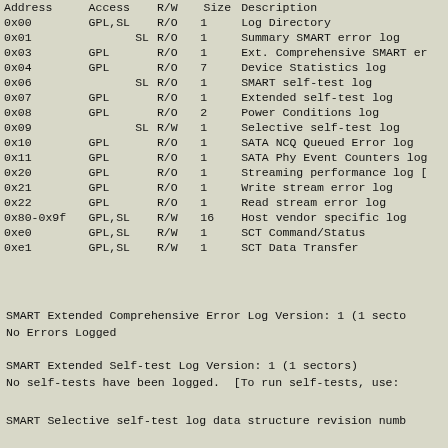| Address | Access | R/W | Size | Description |
| --- | --- | --- | --- | --- |
| 0x00 | GPL,SL | R/O | 1 | Log Directory |
| 0x01 | SL | R/O | 1 | Summary SMART error log |
| 0x03 | GPL | R/O | 1 | Ext. Comprehensive SMART er |
| 0x04 | GPL | R/O | 7 | Device Statistics log |
| 0x06 | SL | R/O | 1 | SMART self-test log |
| 0x07 | GPL | R/O | 1 | Extended self-test log |
| 0x08 | GPL | R/O | 2 | Power Conditions log |
| 0x09 | SL | R/W | 1 | Selective self-test log |
| 0x10 | GPL | R/O | 1 | SATA NCQ Queued Error log |
| 0x11 | GPL | R/O | 1 | SATA Phy Event Counters log |
| 0x20 | GPL | R/O | 1 | Streaming performance log [ |
| 0x21 | GPL | R/O | 1 | Write stream error log |
| 0x22 | GPL | R/O | 1 | Read stream error log |
| 0x80-0x9f | GPL,SL | R/W | 16 | Host vendor specific log |
| 0xe0 | GPL,SL | R/W | 1 | SCT Command/Status |
| 0xe1 | GPL,SL | R/W | 1 | SCT Data Transfer |
SMART Extended Comprehensive Error Log Version: 1 (1 secto
No Errors Logged
SMART Extended Self-test Log Version: 1 (1 sectors)
No self-tests have been logged.  [To run self-tests, use:
SMART Selective self-test log data structure revision numb